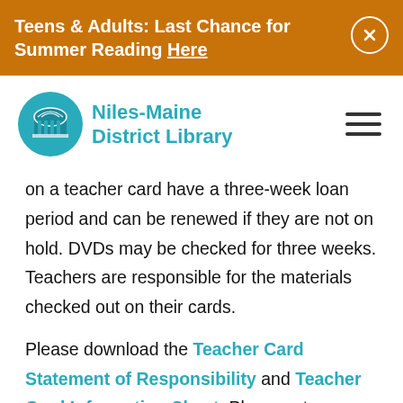Teens & Adults: Last Chance for Summer Reading Here
[Figure (logo): Niles-Maine District Library logo: teal circle with building icon and teal text reading Niles-Maine District Library]
on a teacher card have a three-week loan period and can be renewed if they are not on hold. DVDs may be checked for three weeks. Teachers are responsible for the materials checked out on their cards.
Please download the Teacher Card Statement of Responsibility and Teacher Card Information Sheet. Please return a Teacher Card Statement of